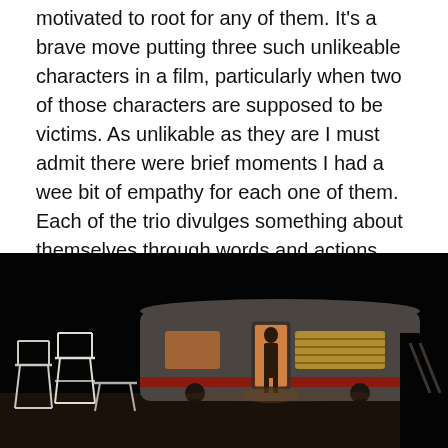motivated to root for any of them. It's a brave move putting three such unlikeable characters in a film, particularly when two of those characters are supposed to be victims. As unlikable as they are I must admit there were brief moments I had a wee bit of empathy for each one of them. Each of the trio divulges something about themselves through words and actions and while it is often self-serving, despicable, and downright psychotic it does occasionally illicit a bit of empathy.
[Figure (photo): A nighttime outdoor scene showing a vintage trailer/caravan illuminated from inside with warm orange-yellow light. A person stands in the open doorway. Folding white chairs and a small table are visible in the foreground on sandy ground. The background is very dark.]